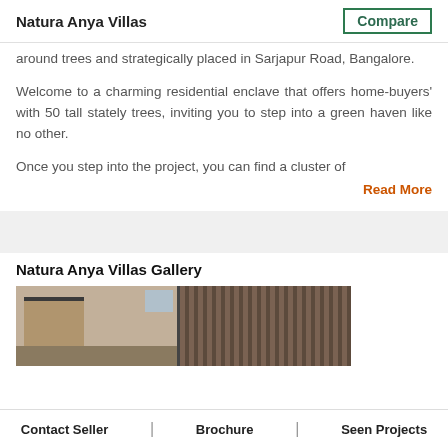Natura Anya Villas | Compare
around trees and strategically placed in Sarjapur Road, Bangalore.
Welcome to a charming residential enclave that offers home-buyers' with 50 tall stately trees, inviting you to step into a green haven like no other.
Once you step into the project, you can find a cluster of
Read More
Natura Anya Villas Gallery
[Figure (photo): Exterior photo of Natura Anya Villas showing building facade with wooden elements and architectural details]
Contact Seller | Brochure | Seen Projects